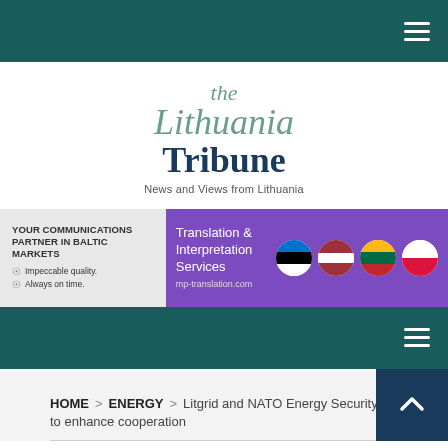Navigation bar with hamburger menu
[Figure (logo): The Lithuania Tribune logo with tagline 'News and Views from Lithuania']
[Figure (infographic): Advertisement banner: left side - 'YOUR COMMUNICATIONS PARTNER IN BALTIC MARKETS' with checkmarks for 'Impeccable quality.' and 'Always on time.'; right side purple - 'Translation & Interpretation Services' with Baltic state flags and url mp-translation.com]
Second navigation bar with hamburger menu
HOME > ENERGY > Litgrid and NATO Energy Security Centre to enhance cooperation